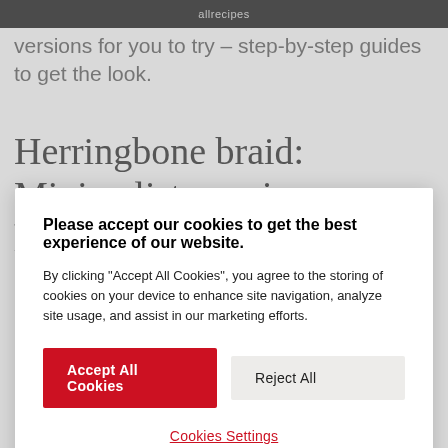Allrecipes
versions for you to try – step-by-step guides to get the look.
Herringbone braid: Minimalist evening hairstyle
Please accept our cookies to get the best experience of our website.
By clicking “Accept All Cookies”, you agree to the storing of cookies on your device to enhance site navigation, analyze site usage, and assist in our marketing efforts.
Accept All Cookies
Reject All
Cookies Settings
hair tie. Divide the braid into two equal strands.